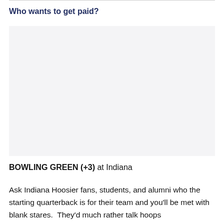Who wants to get paid?
[Figure (other): Blank/placeholder image area with light gray background]
BOWLING GREEN (+3) at Indiana
Ask Indiana Hoosier fans, students, and alumni who the starting quarterback is for their team and you'll be met with blank stares.  They'd much rather talk hoops